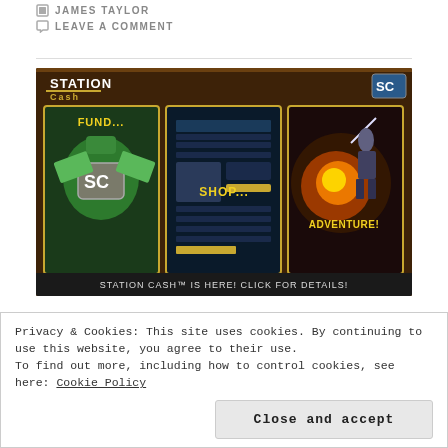JAMES TAYLOR
LEAVE A COMMENT
[Figure (screenshot): Station Cash promotional banner ad showing FUND..., SHOP..., and ADVENTURE! panels. Text at bottom: STATION CASH™ IS HERE! CLICK FOR DETAILS!]
With the recent addition of Station Cash into Everquest and Everquest 2 the MMO community has been abuzz, mostly full of angsty forum kiddies
Privacy & Cookies: This site uses cookies. By continuing to use this website, you agree to their use.
To find out more, including how to control cookies, see here: Cookie Policy
Close and accept
nothing of the such, but rather a horrible